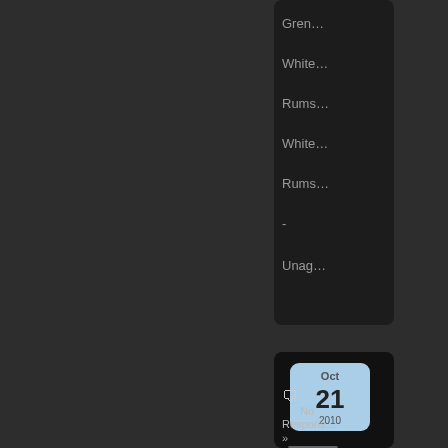[Figure (screenshot): Dark UI screenshot showing a sidebar panel with truncated text items: Grena, White, Rums, White, Rums, -, Unag. Below is a calendar widget showing Oct 21 2010, and a 'No Responses' section with a speech bubble icon and an arrow (»). A photo thumbnail appears at the bottom.]